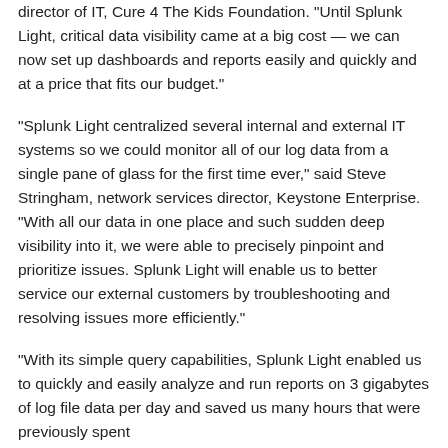director of IT, Cure 4 The Kids Foundation. "Until Splunk Light, critical data visibility came at a big cost — we can now set up dashboards and reports easily and quickly and at a price that fits our budget."
"Splunk Light centralized several internal and external IT systems so we could monitor all of our log data from a single pane of glass for the first time ever," said Steve Stringham, network services director, Keystone Enterprise. "With all our data in one place and such sudden deep visibility into it, we were able to precisely pinpoint and prioritize issues. Splunk Light will enable us to better service our external customers by troubleshooting and resolving issues more efficiently."
"With its simple query capabilities, Splunk Light enabled us to quickly and easily analyze and run reports on 3 gigabytes of log file data per day and saved us many hours that were previously spent writing scripts to extract information from the log4 data," said Mike